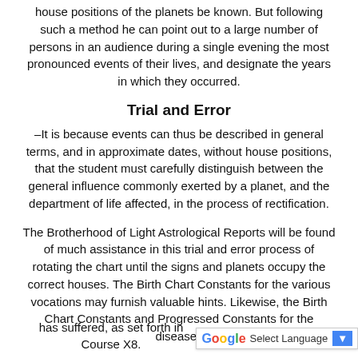house positions of the planets be known. But following such a method he can point out to a large number of persons in an audience during a single evening the most pronounced events of their lives, and designate the years in which they occurred.
Trial and Error
–It is because events can thus be described in general terms, and in approximate dates, without house positions, that the student must carefully distinguish between the general influence commonly exerted by a planet, and the department of life affected, in the process of rectification.
The Brotherhood of Light Astrological Reports will be found of much assistance in this trial and error process of rotating the chart until the signs and planets occupy the correct houses. The Birth Chart Constants for the various vocations may furnish valuable hints. Likewise, the Birth Chart Constants and Progressed Constants for the diseases
has suffered, as set forth in Course X8.